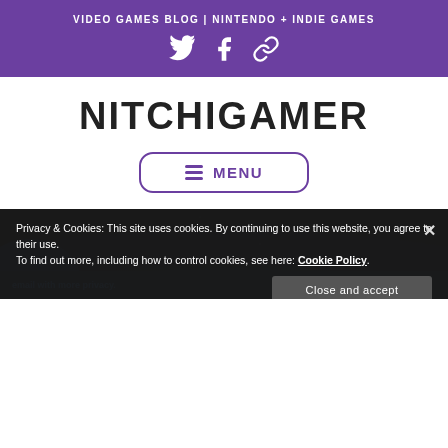VIDEO GAMES BLOG | NINTENDO + INDIE GAMES
[Figure (other): Social media icons: Twitter bird, Facebook f, and a chain/link icon, displayed in white on purple background]
NITCHIGAMER
≡ MENU
[Figure (photo): Dark blue night sky background image partially visible]
Privacy & Cookies: This site uses cookies. By continuing to use this website, you agree to their use.
To find out more, including how to control cookies, see here: Cookie Policy.
Close and accept
email with more privacy.